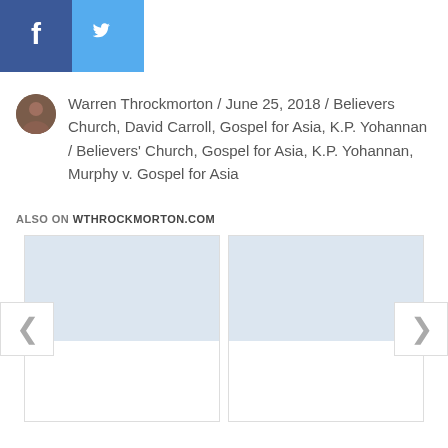[Figure (other): Social media share buttons: Facebook (blue) and Twitter (light blue) icons side by side]
Warren Throckmorton / June 25, 2018 / Believers Church, David Carroll, Gospel for Asia, K.P. Yohannan / Believers' Church, Gospel for Asia, K.P. Yohannan, Murphy v. Gospel for Asia
ALSO ON WTHROCKMORTON.COM
[Figure (screenshot): A carousel of article cards with left and right navigation arrows, showing two article card placeholders with gray image areas]